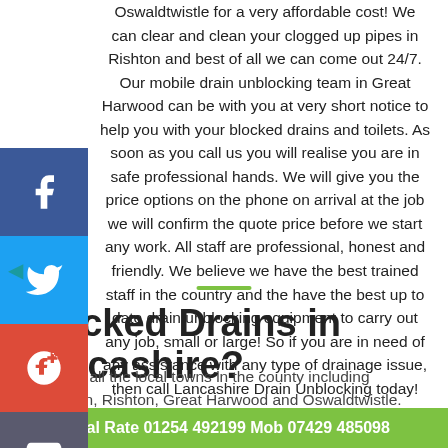Oswaldtwistle for a very affordable cost! We can clear and clean your clogged up pipes in Rishton and best of all we can come out 24/7. Our mobile drain unblocking team in Great Harwood can be with you at very short notice to help you with your blocked drains and toilets. As soon as you call us you will realise you are in safe professional hands. We will give you the price options on the phone on arrival at the job we will confirm the quote price before we start any work. All staff are professional, honest and friendly. We believe we have the best trained staff in the country and the have the best up to date drain unblocking equipment to carry out any job, small or large! So if you are in need of any assistance with any type of drainage issue, then call Lancashire Drain Unblocking today!
[Figure (other): Social media sharing sidebar with Facebook, Twitter, Google+, and Email buttons]
Blocked Drains in Lancashire?
We cover all the local towns in the county including Accrington, Rishton, Great Harwood and Oswaldtwistle. There are many types...
Local Rate 01254 492199 Mob 07429 485098